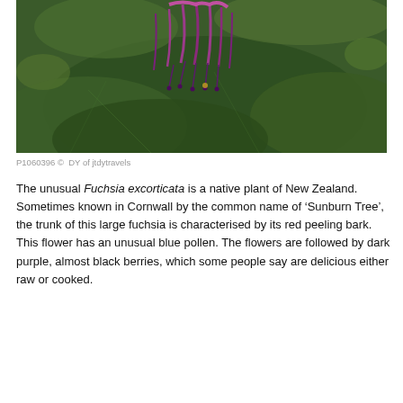[Figure (photo): Close-up photo of a Fuchsia excorticata flower with purple drooping stamens and large dark green leaves, photographed outdoors.]
P1060396 ©  DY of jtdytravels
The unusual Fuchsia excorticata is a native plant of New Zealand.  Sometimes known in Cornwall by the common name of ‘Sunburn Tree’, the trunk of this large fuchsia is characterised by its red peeling bark.  This flower has an unusual blue pollen. The flowers are followed by dark purple, almost black berries, which some people say are delicious either raw or cooked.